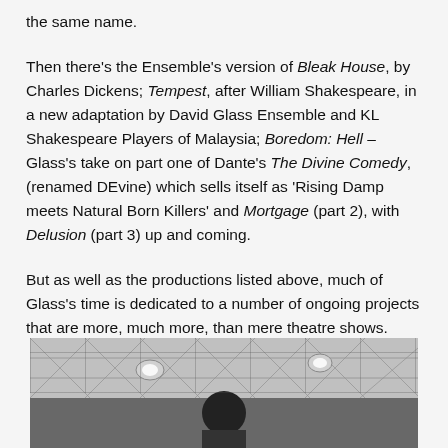the same name.
Then there's the Ensemble's version of Bleak House, by Charles Dickens; Tempest, after William Shakespeare, in a new adaptation by David Glass Ensemble and KL Shakespeare Players of Malaysia; Boredom: Hell – Glass's take on part one of Dante's The Divine Comedy, (renamed DEvine) which sells itself as 'Rising Damp meets Natural Born Killers' and Mortgage (part 2), with Delusion (part 3) up and coming.
But as well as the productions listed above, much of Glass's time is dedicated to a number of ongoing projects that are more, much more, than mere theatre shows.
[Figure (photo): Black and white photograph showing a person (partially visible, with dark hair) under a ceiling with recessed spotlights and a tiled/diamond-pattern ceiling.]